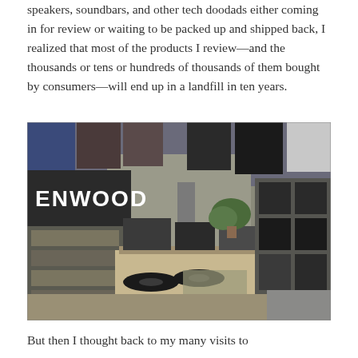speakers, soundbars, and other tech doodads either coming in for review or waiting to be packed up and shipped back, I realized that most of the products I review—and the thousands or tens or hundreds of thousands of them bought by consumers—will end up in a landfill in ten years.
[Figure (photo): Interior of a vintage/used electronics store showing shelves and tables filled with old audio equipment including receivers, turntables, speakers, and other electronics. A Kenwood sign is visible on the left wall, with band posters and flags hanging from the ceiling. Equipment is densely packed throughout the store.]
But then I thought back to my many visits to